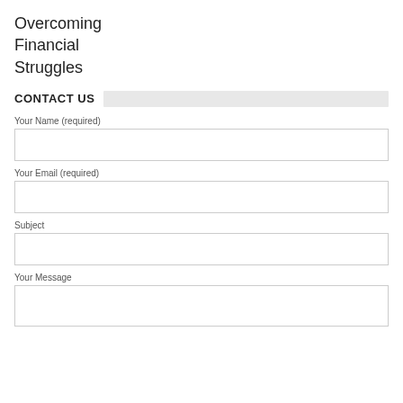Overcoming Financial Struggles
CONTACT US
Your Name (required)
Your Email (required)
Subject
Your Message